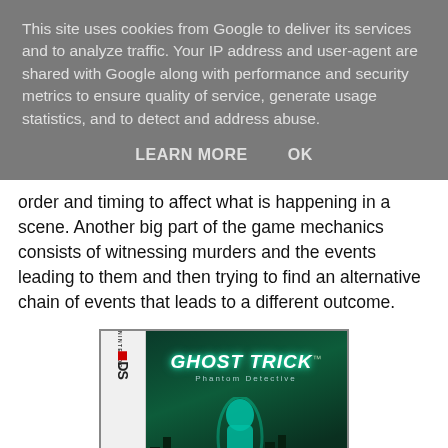This site uses cookies from Google to deliver its services and to analyze traffic. Your IP address and user-agent are shared with Google along with performance and security metrics to ensure quality of service, generate usage statistics, and to detect and address abuse.
LEARN MORE    OK
order and timing to affect what is happening in a scene. Another big part of the game mechanics consists of witnessing murders and the events leading to them and then trying to find an alternative chain of events that leads to a different outcome.
[Figure (photo): Nintendo DS game box for Ghost Trick: Phantom Detective by Capcom. The cover shows a teal glowing ghost figure and a red character on a dark green background with city silhouette. The DS spine is visible on the left side.]